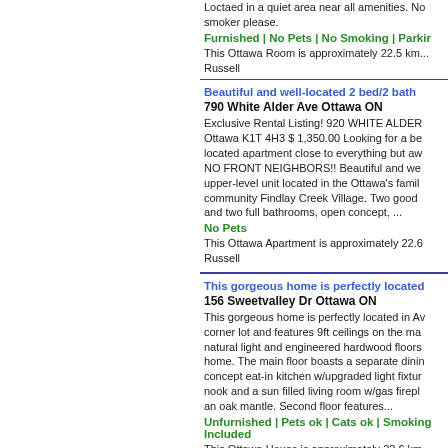Loctaed in a quiet area near all amenities. No smoker please.
Furnished | No Pets | No Smoking | Parking
This Ottawa Room is approximately 22.5 km... Russell
Beautiful and well-located 2 bed/2 bath
790 White Alder Ave Ottawa ON
Exclusive Rental Listing! 920 WHITE ALDER Ottawa K1T 4H3 $ 1,350.00 Looking for a be located apartment close to everything but aw NO FRONT NEIGHBORS!! Beautiful and we upper-level unit located in the Ottawa's famil community Findlay Creek Village. Two good and two full bathrooms, open concept, ...
No Pets
This Ottawa Apartment is approximately 22.6 Russell
This gorgeous home is perfectly located
156 Sweetvalley Dr Ottawa ON
This gorgeous home is perfectly located in Av corner lot and features 9ft ceilings on the ma natural light and engineered hardwood floors home. The main floor boasts a separate dini concept eat-in kitchen w/upgraded light fixtur nook and a sun filled living room w/gas firepl an oak mantle. Second floor features...
Unfurnished | Pets ok | Cats ok | Smoking Included
This Ottawa House is approximately 22.6 km